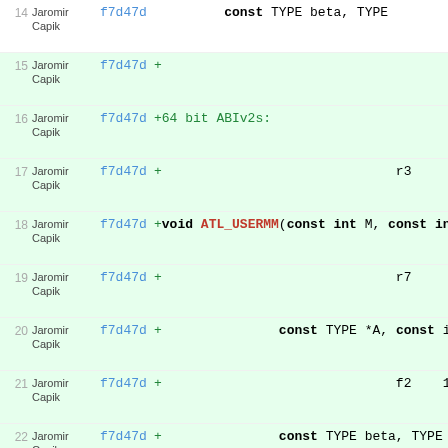| Line | Author | Commit | Code |
| --- | --- | --- | --- |
| 14 | Jaromir Capik | f7d47d | const TYPE beta, TYPE |
| 15 | Jaromir Capik | f7d47d | + |
| 16 | Jaromir Capik | f7d47d | +64 bit ABIv2s: |
| 17 | Jaromir Capik | f7d47d | +                              r3 |
| 18 | Jaromir Capik | f7d47d | +void ATL_USERMM(const int M, const int |
| 19 | Jaromir Capik | f7d47d | +                              r7 |
| 20 | Jaromir Capik | f7d47d | +               const TYPE *A, const i |
| 21 | Jaromir Capik | f7d47d | +                              f2    104( |
| 22 | Jaromir Capik | f7d47d | +               const TYPE beta, TYPE |
| 23 | Jaromir Capik | f7d47d |     #endif |
| 24 | Jaromir Capik | f7d47d |     #ifdef ATL_AS_AIX_PPC |